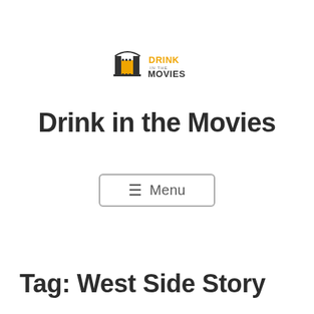[Figure (logo): Drink in the Movies logo: small building/film strip icon on left, orange text 'DRINK IN THE MOVIES' on right]
Drink in the Movies
☰  Menu
Tag: West Side Story